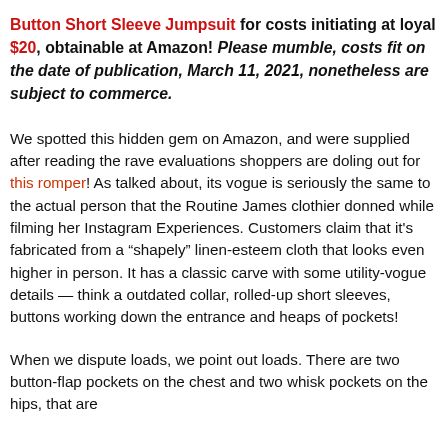Button Short Sleeve Jumpsuit for costs initiating at loyal $20, obtainable at Amazon! Please mumble, costs fit on the date of publication, March 11, 2021, nonetheless are subject to commerce.
We spotted this hidden gem on Amazon, and were supplied after reading the rave evaluations shoppers are doling out for this romper! As talked about, its vogue is seriously the same to the actual person that the Routine James clothier donned while filming her Instagram Experiences. Customers claim that it's fabricated from a “shapely” linen-esteem cloth that looks even higher in person. It has a classic carve with some utility-vogue details — think a outdated collar, rolled-up short sleeves, buttons working down the entrance and heaps of pockets!
When we dispute loads, we point out loads. There are two button-flap pockets on the chest and two whisk pockets on the hips, that are more accompanied with the element to make it seem natural.